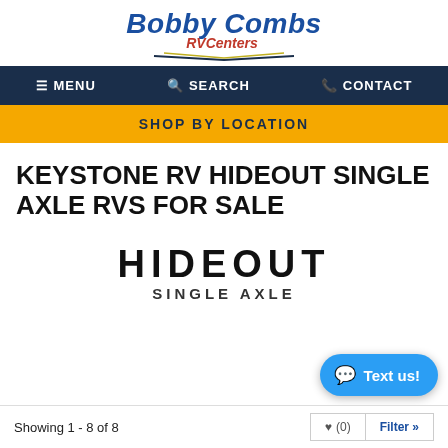Bobby Combs RV Centers
MENU  SEARCH  CONTACT
SHOP BY LOCATION
KEYSTONE RV HIDEOUT SINGLE AXLE RVS FOR SALE
[Figure (logo): Hideout Single Axle brand logo with large bold text HIDEOUT and subtitle SINGLE AXLE]
Showing 1 - 8 of 8
♥ (0)  Filter »